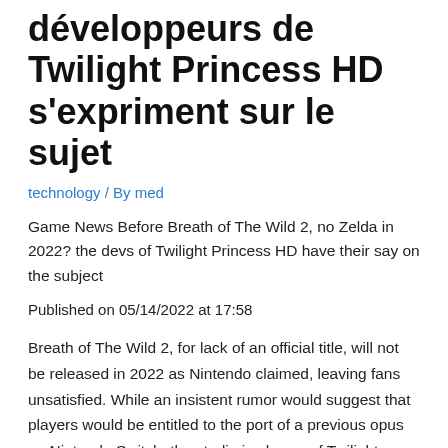développeurs de Twilight Princess HD s'expriment sur le sujet
technology / By med
Game News Before Breath of The Wild 2, no Zelda in 2022? the devs of Twilight Princess HD have their say on the subject
Published on 05/14/2022 at 17:58
Breath of The Wild 2, for lack of an official title, will not be released in 2022 as Nintendo claimed, leaving fans unsatisfied. While an insistent rumor would suggest that players would be entitled to the port of a previous opus on Nintendo Switch, the studio in charge of Twilight Princess HD is rather ready to make one.
Twilight Princess and Wind Waker to